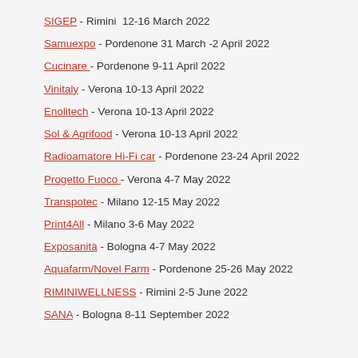SIGEP - Rimini 12-16 March 2022
Samuexpo - Pordenone 31 March -2 April 2022
Cucinare - Pordenone 9-11 April 2022
Vinitaly - Verona 10-13 April 2022
Enolitech - Verona 10-13 April 2022
Sol & Agrifood - Verona 10-13 April 2022
Radioamatore Hi-Fi car - Pordenone 23-24 April 2022
Progetto Fuoco - Verona 4-7 May 2022
Transpotec - Milano 12-15 May 2022
Print4All - Milano 3-6 May 2022
Exposanità - Bologna 4-7 May 2022
Aquafarm/Novel Farm - Pordenone 25-26 May 2022
RIMINIWELLNESS - Rimini 2-5 June 2022
SANA - Bologna 8-11 September 2022